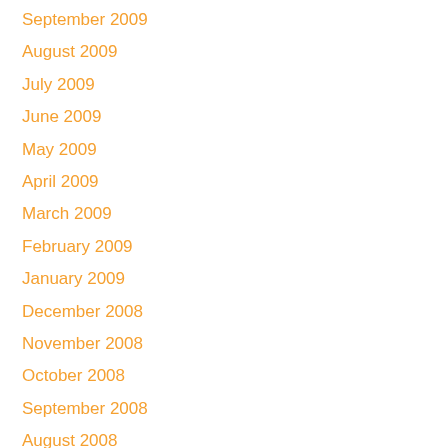September 2009
August 2009
July 2009
June 2009
May 2009
April 2009
March 2009
February 2009
January 2009
December 2008
November 2008
October 2008
September 2008
August 2008
July 2008